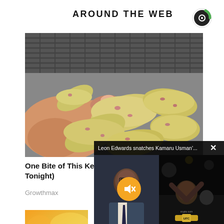AROUND THE WEB
[Figure (photo): Close-up photo of small yellow potatoes with pink spots being held in a hand, on a metal tray/rack]
One Bite of This Ke... Tonight)
Growthmax
[Figure (screenshot): Video popup overlay showing 'Leon Edwards snatches Kamaru Usman'...' with a muted video of a sports commentator and UFC fighter celebrating]
[Figure (photo): Partial thumbnail of second article, showing orange/yellow gradient background]